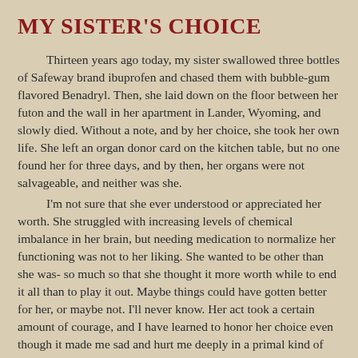MY SISTER'S CHOICE
Thirteen years ago today, my sister swallowed three bottles of Safeway brand ibuprofen and chased them with bubble-gum flavored Benadryl. Then, she laid down on the floor between her futon and the wall in her apartment in Lander, Wyoming, and slowly died. Without a note, and by her choice, she took her own life. She left an organ donor card on the kitchen table, but no one found her for three days, and by then, her organs were not salvageable, and neither was she.
I'm not sure that she ever understood or appreciated her worth. She struggled with increasing levels of chemical imbalance in her brain, but needing medication to normalize her functioning was not to her liking. She wanted to be other than she was- so much so that she thought it more worth while to end it all than to play it out. Maybe things could have gotten better for her, or maybe not. I'll never know. Her act took a certain amount of courage, and I have learned to honor her choice even though it made me sad and hurt me deeply in a primal kind of way. It was a hard thing to lose my